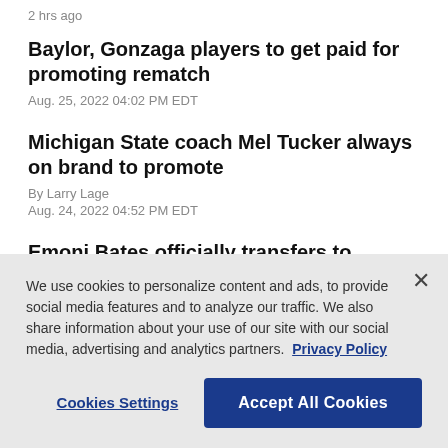2 hrs ago
Baylor, Gonzaga players to get paid for promoting rematch
Aug. 25, 2022 04:02 PM EDT
Michigan State coach Mel Tucker always on brand to promote
By Larry Lage
Aug. 24, 2022 04:52 PM EDT
Emoni Bates officially transfers to Eastern Michigan
We use cookies to personalize content and ads, to provide social media features and to analyze our traffic. We also share information about your use of our site with our social media, advertising and analytics partners. Privacy Policy
Cookies Settings
Accept All Cookies